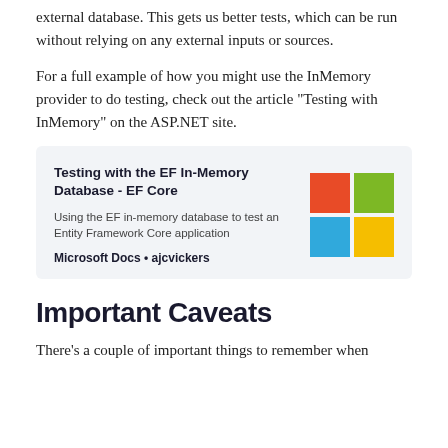external database. This gets us better tests, which can be run without relying on any external inputs or sources.
For a full example of how you might use the InMemory provider to do testing, check out the article "Testing with InMemory" on the ASP.NET site.
[Figure (infographic): Link card with title 'Testing with the EF In-Memory Database - EF Core', description 'Using the EF in-memory database to test an Entity Framework Core application', attribution 'Microsoft Docs • ajcvickers', and the Microsoft Windows logo (four colored squares: red, green, blue, yellow).]
Important Caveats
There's a couple of important things to remember when